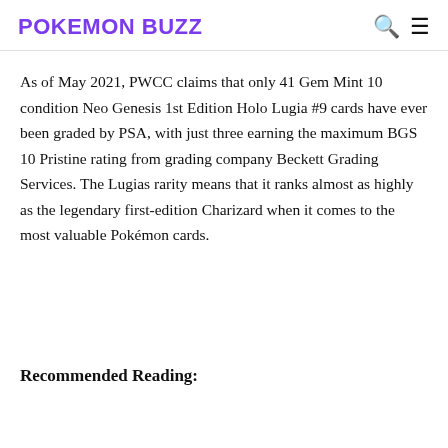POKEMON BUZZ
As of May 2021, PWCC claims that only 41 Gem Mint 10 condition Neo Genesis 1st Edition Holo Lugia #9 cards have ever been graded by PSA, with just three earning the maximum BGS 10 Pristine rating from grading company Beckett Grading Services. The Lugias rarity means that it ranks almost as highly as the legendary first-edition Charizard when it comes to the most valuable Pokémon cards.
Recommended Reading: